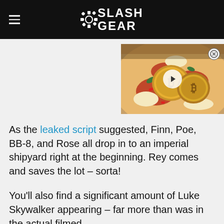SlashGear
[Figure (photo): Video thumbnail showing a pizza topped with gold Bitcoin coins, with a white play button overlay. A close (X) button is in the top-right corner.]
As the leaked script suggested, Finn, Poe, BB-8, and Rose all drop in to an imperial shipyard right at the beginning. Rey comes and saves the lot – sorta!
You'll also find a significant amount of Luke Skywalker appearing – far more than was in the actual filmed